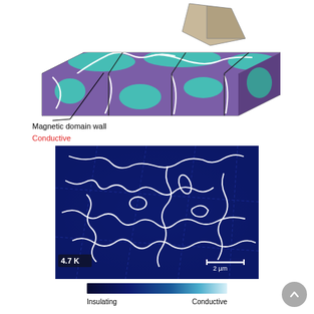[Figure (illustration): 3D schematic illustration of a magnetic material showing domain walls (conductive, shown as white lines) separating magnetic domains (purple and teal/cyan regions), with a probe tip touching the surface. A label arrow points to 'Magnetic domain wall / Conductive'.]
Magnetic domain wall
Conductive
[Figure (photo): Microscopy image at 4.7 K showing conductive domain walls (white/bright lines) on a dark blue insulating background. A scale bar of 2 µm is shown in the bottom right. The domain walls form curved, irregular networks across grain boundaries.]
[Figure (other): Horizontal colorbar from dark navy blue (Insulating) on the left to light cyan/white (Conductive) on the right, with labels 'Insulating' and 'Conductive' below.]